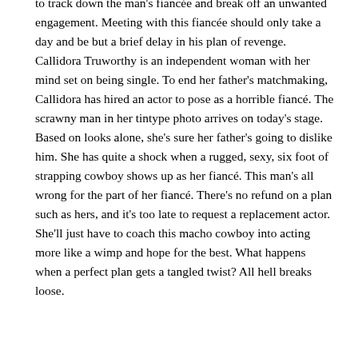to track down the man's fiancée and break off an unwanted engagement. Meeting with this fiancée should only take a day and be but a brief delay in his plan of revenge. Callidora Truworthy is an independent woman with her mind set on being single. To end her father's matchmaking, Callidora has hired an actor to pose as a horrible fiancé. The scrawny man in her tintype photo arrives on today's stage. Based on looks alone, she's sure her father's going to dislike him. She has quite a shock when a rugged, sexy, six foot of strapping cowboy shows up as her fiancé. This man's all wrong for the part of her fiancé. There's no refund on a plan such as hers, and it's too late to request a replacement actor. She'll just have to coach this macho cowboy into acting more like a wimp and hope for the best. What happens when a perfect plan gets a tangled twist? All hell breaks loose.